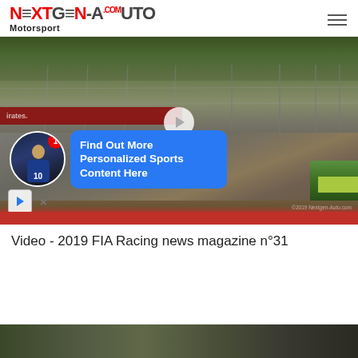NEXTGEN-AUTO.com Motorsport
[Figure (screenshot): Racing circuit video thumbnail with ad overlay showing 'Find Out More Personalized Sports Content Here' in a blue bubble, with a play button, and a small overlay at the bottom showing a play icon button and an X close button. The track shows barriers, fencing, and a red curb. Text watermark at bottom right.]
Video - 2019 FIA Racing news magazine n°31
[Figure (photo): Partial view of another racing circuit photo at the bottom of the page, cut off.]